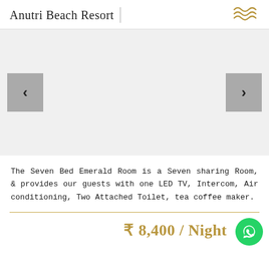Anutri Beach Resort
[Figure (illustration): Image carousel with left and right navigation arrows on a light grey background]
The Seven Bed Emerald Room is a Seven sharing Room, & provides our guests with one LED TV, Intercom, Air conditioning, Two Attached Toilet, tea coffee maker.
₹ 8,400 / Night